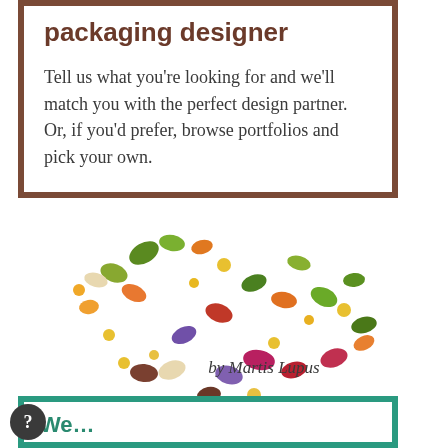packaging designer
Tell us what you’re looking for and we’ll match you with the perfect design partner. Or, if you’d prefer, browse portfolios and pick your own.
[Figure (illustration): Colorful scattered jelly beans in various colors including green, orange, red, brown, purple, yellow, and beige arranged in a loose cluster pattern]
by Martis Lupus
We…